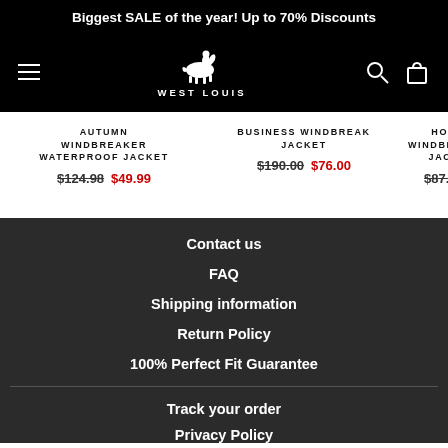Biggest SALE of the year! Up to 70% Discounts
[Figure (logo): West Louis brand logo with horseback rider and text WEST LOUIS]
AUTUMN WINDBREAKER WATERPROOF JACKET $124.98 $49.99
BUSINESS WINDBREAK JACKET $190.00 $76.00
HOO WINDBREAKER JACKET $87.50
Contact us
FAQ
Shipping information
Return Policy
100% Perfect Fit Guarantee
Track your order
Privacy Policy